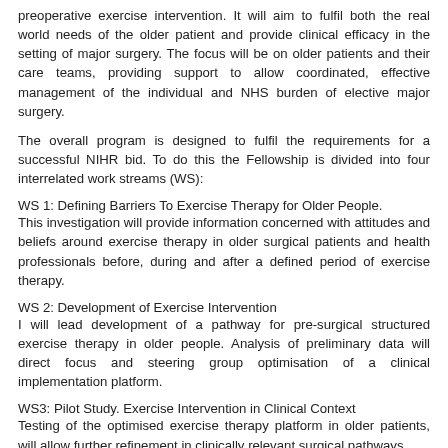preoperative exercise intervention. It will aim to fulfil both the real world needs of the older patient and provide clinical efficacy in the setting of major surgery. The focus will be on older patients and their care teams, providing support to allow coordinated, effective management of the individual and NHS burden of elective major surgery.
The overall program is designed to fulfil the requirements for a successful NIHR bid. To do this the Fellowship is divided into four interrelated work streams (WS):
WS 1: Defining Barriers To Exercise Therapy for Older People.
This investigation will provide information concerned with attitudes and beliefs around exercise therapy in older surgical patients and health professionals before, during and after a defined period of exercise therapy.
WS 2: Development of Exercise Intervention
I will lead development of a pathway for pre-surgical structured exercise therapy in older people. Analysis of preliminary data will direct focus and steering group optimisation of a clinical implementation platform.
WS3: Pilot Study. Exercise Intervention in Clinical Context
Testing of the optimised exercise therapy platform in older patients, will allow further refinement in clinically relevant surgical pathways.
WS4: Feasibility Study. To identify the efficacy and acceptability of the intervention in older patients, in predefined surgical setting(s). Combined with the physical response to exercise therapy and the relation to postoperative outcome, the information will aid design of a definitive, implementation trial. This will be the end point of the fellowship.
Overall Impact: